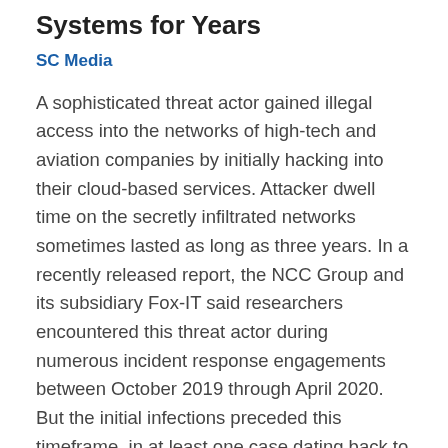Systems for Years
SC Media
A sophisticated threat actor gained illegal access into the networks of high-tech and aviation companies by initially hacking into their cloud-based services. Attacker dwell time on the secretly infiltrated networks sometimes lasted as long as three years. In a recently released report, the NCC Group and its subsidiary Fox-IT said researchers encountered this threat actor during numerous incident response engagements between October 2019 through April 2020. But the initial infections preceded this timeframe, in at least one case dating back to 2017.